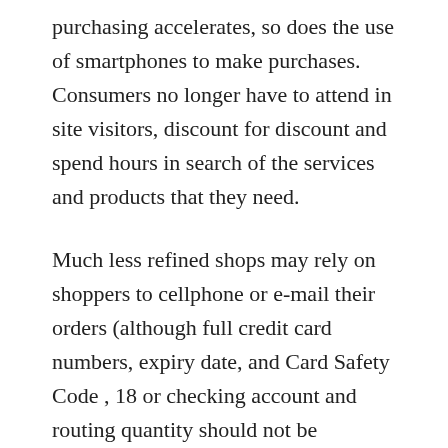purchasing accelerates, so does the use of smartphones to make purchases. Consumers no longer have to attend in site visitors, discount for discount and spend hours in search of the services and products that they need.
Much less refined shops may rely on shoppers to cellphone or e-mail their orders (although full credit card numbers, expiry date, and Card Safety Code , 18 or checking account and routing quantity should not be accepted by e-mail, for causes of security). With our secure online payments, you may as well shop with confidence with Central Online. Think about using a third-celebration escrow agent to pay for priceless items as they will hold the fee in trust till you obtain and battle for the item...